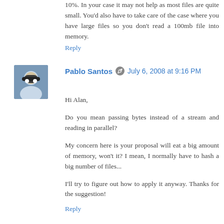10%. In your case it may not help as most files are quite small. You'd also have to take care of the case where you have large files so you don't read a 100mb file into memory.
Reply
Pablo Santos  July 6, 2008 at 9:16 PM
Hi Alan,

Do you mean passing bytes instead of a stream and reading in parallel?

My concern here is your proposal will eat a big amount of memory, won't it? I mean, I normally have to hash a big number of files...

I'll try to figure out how to apply it anyway. Thanks for the suggestion!
Reply